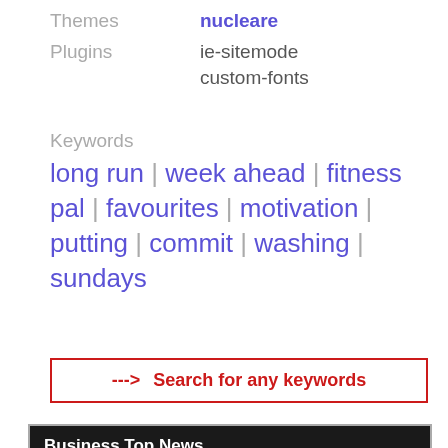Themes   nucleare
Plugins   ie-sitemode
             custom-fonts
Keywords
long run | week ahead | fitness pal | favourites | motivation | putting | commit | washing | sundays
---> Search for any keywords
[Figure (screenshot): Screenshot of a website called Business Top News with navigation bar showing Business, Finance, Wealth, Earnings, Investing, Advisors, Personal Finance, Contact menus, and preview article images below.]